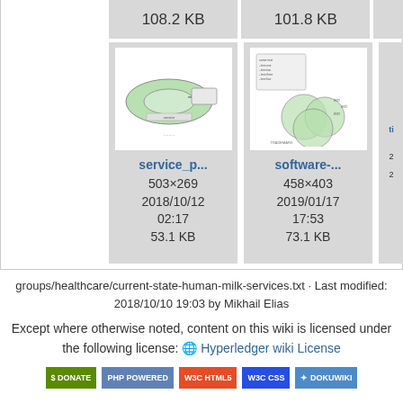[Figure (screenshot): Gallery of document thumbnail images showing file sizes 108.2 KB and 101.8 KB in top row, then two thumbnail cards: service_p... (503×269, 2018/10/12 02:17, 53.1 KB) and software-... (458×403, 2019/01/17 17:53, 73.1 KB), with a partially visible third card]
groups/healthcare/current-state-human-milk-services.txt · Last modified: 2018/10/10 19:03 by Mikhail Elias
Except where otherwise noted, content on this wiki is licensed under the following license: Hyperledger wiki License
[Figure (screenshot): Row of badge icons: Donate, PHP Powered, W3C HTML5, W3C CSS, DokuWiki]